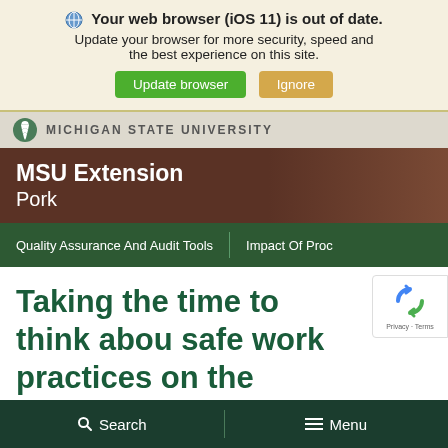Your web browser (iOS 11) is out of date. Update your browser for more security, speed and the best experience on this site.
[Figure (screenshot): Browser update warning banner with Update browser (green) and Ignore (orange) buttons]
[Figure (logo): Michigan State University Spartan helmet logo and wordmark]
MSU Extension
Pork
Quality Assurance And Audit Tools | Impact Of Proc
Taking the time to think abou safe work practices on the
[Figure (logo): reCAPTCHA badge with Privacy - Terms]
Search   Menu